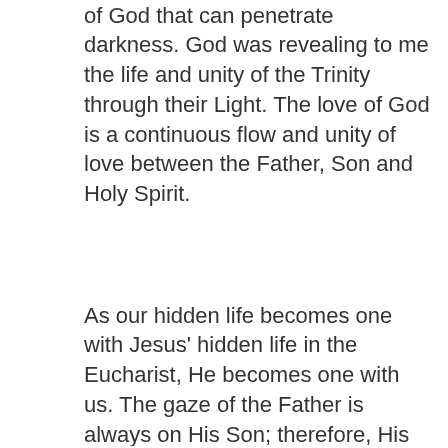of God that can penetrate darkness. God was revealing to me the life and unity of the Trinity through their Light. The love of God is a continuous flow and unity of love between the Father, Son and Holy Spirit.
As our hidden life becomes one with Jesus' hidden life in the Eucharist, He becomes one with us. The gaze of the Father is always on His Son; therefore, His gaze is then set upon us for we are one with Jesus. Then the love of the Father and the Son, which is the Holy Spirit, can consume us and flow from us to the world.
As living hosts, our lives enter the realm of God and therefore can affect the world according to the desire of God Himself. Our hidden and ordinary